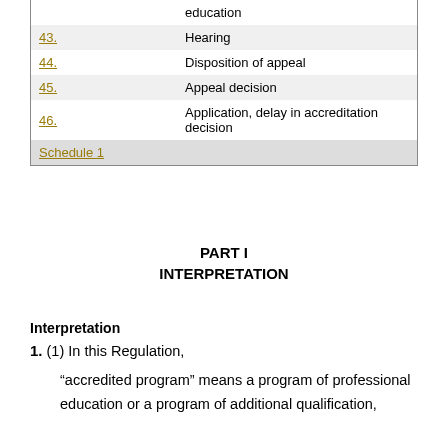|  |  |
| --- | --- |
|  | education |
| 43. | Hearing |
| 44. | Disposition of appeal |
| 45. | Appeal decision |
| 46. | Application, delay in accreditation decision |
| Schedule 1 |  |
PART I
INTERPRETATION
Interpretation
1. (1) In this Regulation,
“accredited program” means a program of professional education or a program of additional qualification,